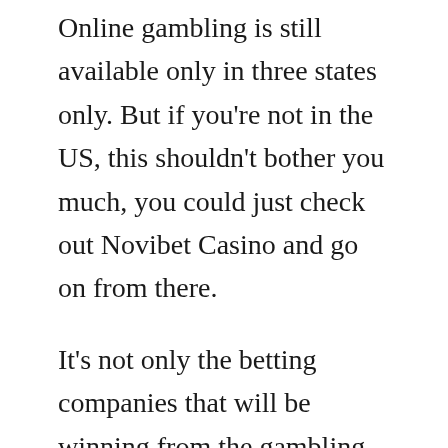Online gambling is still available only in three states only. But if you're not in the US, this shouldn't bother you much, you could just check out Novibet Casino and go on from there.
It's not only the betting companies that will be winning from the gambling legalization. Obviously the government will win with new taxes that will be paid but also various sports teams expect the legalization of gambling to make their organizations a lot more valuable. "There's an underground gigantic pool of revenue and now it moves into the sunshine. All of a sudden you're looking at a revenue stream